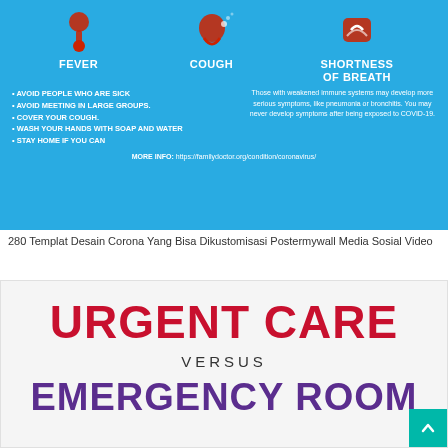[Figure (infographic): COVID-19 symptoms infographic on blue background showing Fever, Cough, Shortness of Breath icons with prevention tips and side note about weakened immune systems. More info link to familydoctor.org.]
280 Templat Desain Corona Yang Bisa Dikustomisasi Postermywall Media Sosial Video
[Figure (infographic): Urgent Care versus Emergency Room infographic on white/light gray background with red 'URGENT CARE' text, 'VERSUS' label, and purple 'EMERGENCY ROOM' text partially visible.]